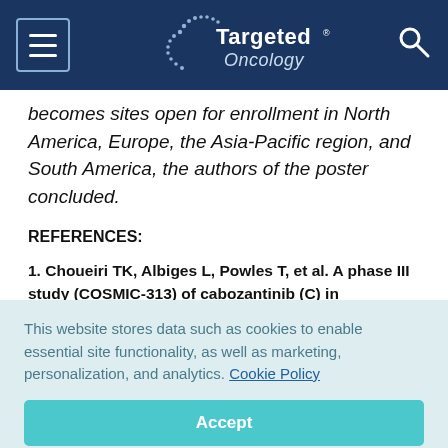Targeted Oncology
becomes sites open for enrollment in North America, Europe, the Asia-Pacific region, and South America, the authors of the poster concluded.
REFERENCES:
1. Choueiri TK, Albiges L, Powles T, et al. A phase III study (COSMIC-313) of cabozantinib (C) in combination with nivolumab (N) and
This website stores data such as cookies to enable essential site functionality, as well as marketing, personalization, and analytics. Cookie Policy
Accept
Deny